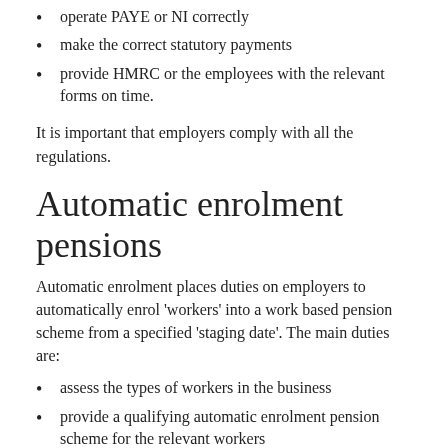operate PAYE or NI correctly
make the correct statutory payments
provide HMRC or the employees with the relevant forms on time.
It is important that employers comply with all the regulations.
Automatic enrolment pensions
Automatic enrolment places duties on employers to automatically enrol 'workers' into a work based pension scheme from a specified 'staging date'. The main duties are:
assess the types of workers in the business
provide a qualifying automatic enrolment pension scheme for the relevant workers
write to most of their workers explaining what automatic enrolment into a workplace pension means for them